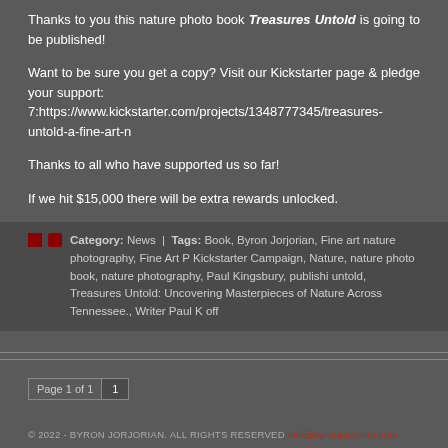Thanks to you this nature photo book Treasures Untold is going to be published!
Want to be sure you get a copy? Visit our Kickstarter page & pledge your support: 7:https://www.kickstarter.com/projects/1348777345/treasures-untold-a-fine-art-n
Thanks to all who have supported us so far!
If we hit $15,000 there will be extra rewards unlocked.
Category: News | Tags: Book, Byron Jorjorian, Fine art nature photography, Fine Art P Kickstarter Campaign, Nature, nature photo book, nature photography, Paul Kingsbury, publishi untold, Treasures Untold: Uncovering Masterpieces of Nature Across Tennessee., Writer Paul K off
Page 1 of 1  1
© 2022 - BYRON JORJORIAN. ALL RIGHTS RESERVED  info@byronjorjorian.com